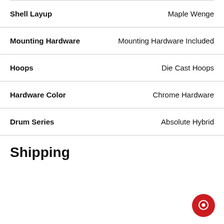| Attribute | Value |
| --- | --- |
| Shell Layup | Maple Wenge |
| Mounting Hardware | Mounting Hardware Included |
| Hoops | Die Cast Hoops |
| Hardware Color | Chrome Hardware |
| Drum Series | Absolute Hybrid |
Shipping